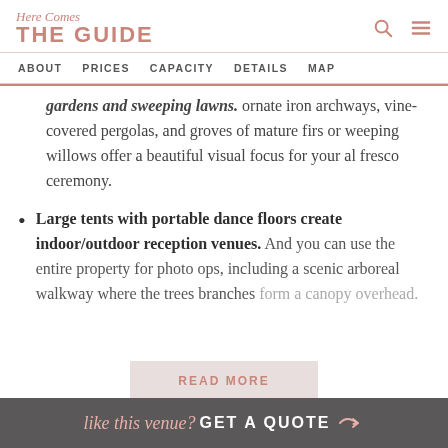Here Comes THE GUIDE
ABOUT  PRICES  CAPACITY  DETAILS  MAP
gardens and sweeping lawns. Ornate iron archways, vine-covered pergolas, and groves of mature firs or weeping willows offer a beautiful visual focus for your al fresco ceremony.
Large tents with portable dance floors create indoor/outdoor reception venues. And you can use the entire property for photo ops, including a scenic arboreal walkway where the trees branches form a canopy overhead.
READ MORE
like this venue? GET A QUOTE